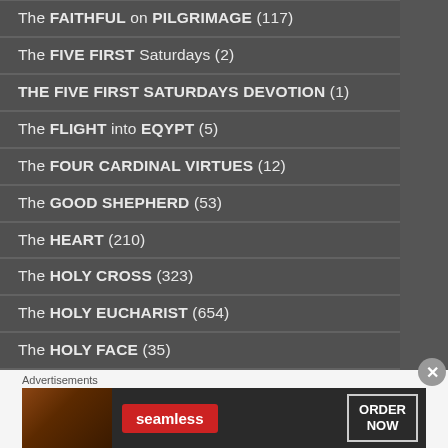The FAITHFUL on PILGRIMAGE (117)
The FIVE FIRST Saturdays (2)
THE FIVE FIRST SATURDAYS DEVOTION (1)
The FLIGHT into EQYPT (5)
The FOUR CARDINAL VIRTUES (12)
The GOOD SHEPHERD (53)
The HEART (210)
The HOLY CROSS (323)
The HOLY EUCHARIST (654)
The HOLY FACE (35)
THE HOLY FAMILY – FAMILIAE SANCTAE (45)
Advertisements
[Figure (other): Seamless food delivery advertisement banner with pizza image, Seamless logo, and ORDER NOW button]